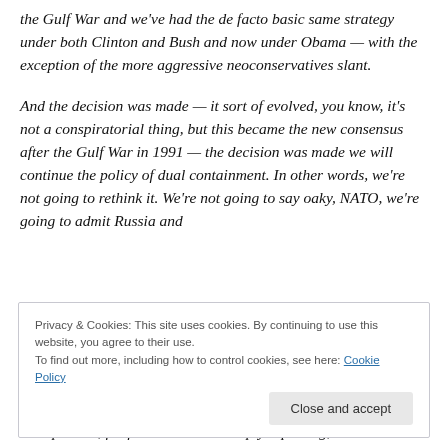the Gulf War and we've had the de facto basic same strategy under both Clinton and Bush and now under Obama — with the exception of the more aggressive neoconservatives slant.
And the decision was made — it sort of evolved, you know, it's not a conspiratorial thing, but this became the new consensus after the Gulf War in 1991 — the decision was made we will continue the policy of dual containment. In other words, we're not going to rethink it. We're not going to say oaky, NATO, we're going to admit Russia and
Privacy & Cookies: This site uses cookies. By continuing to use this website, you agree to their use.
To find out more, including how to control cookies, see here: Cookie Policy
be expanded, for fear — and I'm simply reporting, I'm not